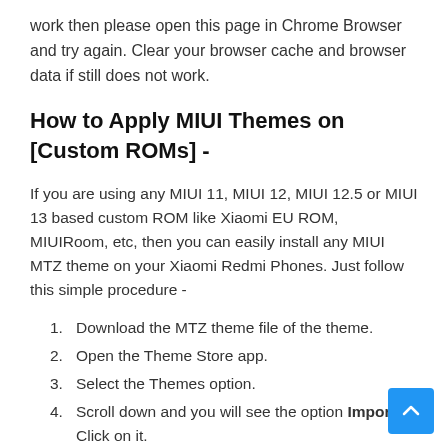work then please open this page in Chrome Browser and try again. Clear your browser cache and browser data if still does not work.
How to Apply MIUI Themes on [Custom ROMs] -
If you are using any MIUI 11, MIUI 12, MIUI 12.5 or MIUI 13 based custom ROM like Xiaomi EU ROM, MIUIRoom, etc, then you can easily install any MIUI MTZ theme on your Xiaomi Redmi Phones. Just follow this simple procedure -
Download the MTZ theme file of the theme.
Open the Theme Store app.
Select the Themes option.
Scroll down and you will see the option Import Click on it.